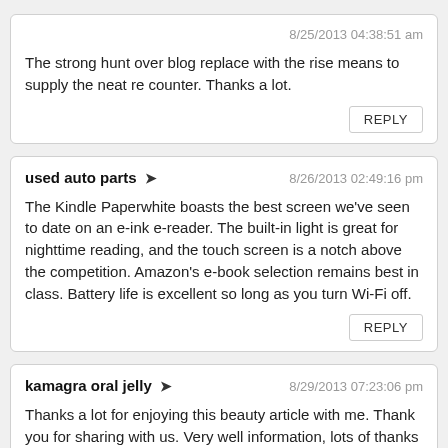The strong hunt over blog replace with the rise means to supply the neat re counter. Thanks a lot.
REPLY
used auto parts ➔  8/26/2013 02:49:16 pm
The Kindle Paperwhite boasts the best screen we've seen to date on an e-ink e-reader. The built-in light is great for nighttime reading, and the touch screen is a notch above the competition. Amazon's e-book selection remains best in class. Battery life is excellent so long as you turn Wi-Fi off.
REPLY
kamagra oral jelly ➔  8/29/2013 07:23:06 pm
Thanks a lot for enjoying this beauty article with me. Thank you for sharing with us. Very well information, lots of thanks to the author
REPLY